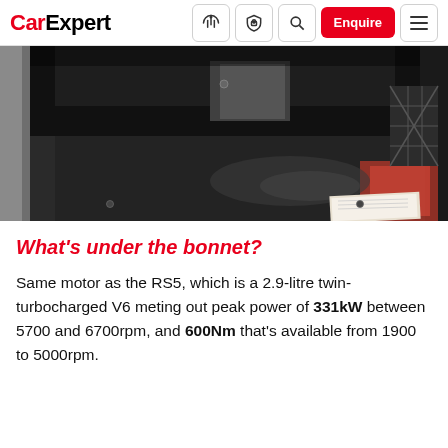CarExpert — navigation bar with logo, icons, Enquire button, and menu
[Figure (photo): Interior photo of a car boot/trunk open, showing a large dark cargo area with carpet lining, a cargo net on the right side, and a document/manual visible on the lower right edge.]
What's under the bonnet?
Same motor as the RS5, which is a 2.9-litre twin-turbocharged V6 meting out peak power of 331kW between 5700 and 6700rpm, and 600Nm that's available from 1900 to 5000rpm.